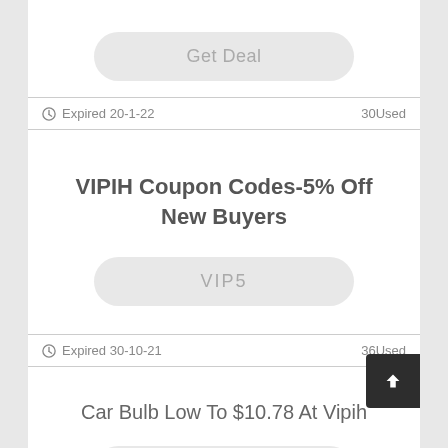Get Deal
Expired 20-1-22   30Used
VIPIH Coupon Codes-5% Off New Buyers
VIP5
Expired 30-10-21   36Used
Car Bulb Low To $10.78 At Vipih
Get Deal